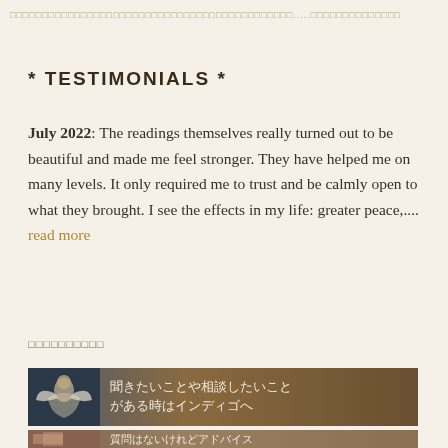□□□□□□□□□□□□□□□□□□□□□□□□□□□□□□□□□□□□□□□□□□□□.....□□□□□□□□□□□□□□
* TESTIMONIALS *
July 2022: The readings themselves really turned out to be beautiful and made me feel stronger. They have helped me on many levels. It only required me to trust and be calmly open to what they brought. I see the effects in my life: greater peace,....read more
□□□□□□□□□□
[Figure (illustration): Banner image with angel figure and Japanese text: 聞きたいことや相談したいことがある時はインディゴへ]
[Figure (illustration): Banner image with figure and partial Japanese text: 質問はないけれどアドバイス]